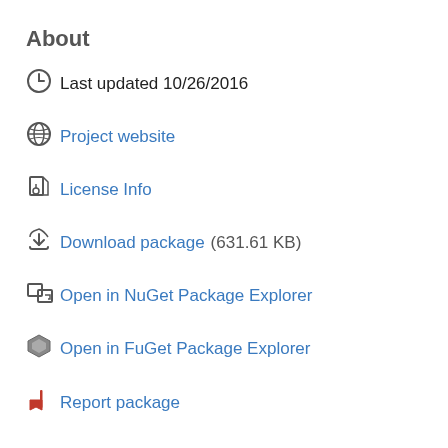About
Last updated 10/26/2016
Project website
License Info
Download package  (631.61 KB)
Open in NuGet Package Explorer
Open in FuGet Package Explorer
Report package
Owners
Contact owners →
timgreenfield